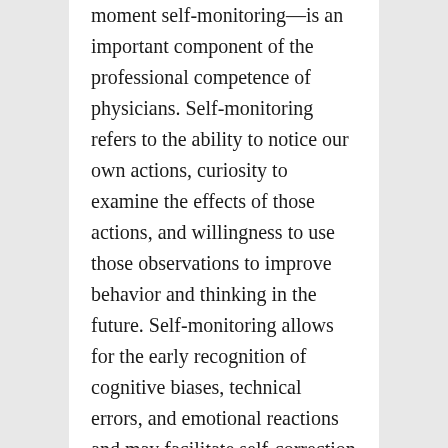moment self-monitoring—is an important component of the professional competence of physicians. Self-monitoring refers to the ability to notice our own actions, curiosity to examine the effects of those actions, and willingness to use those observations to improve behavior and thinking in the future. Self-monitoring allows for the early recognition of cognitive biases, technical errors, and emotional reactions and may facilitate self-correction and development of therapeutic relationships. Cognitive neuroscience has begun to explore the brain functions associated with